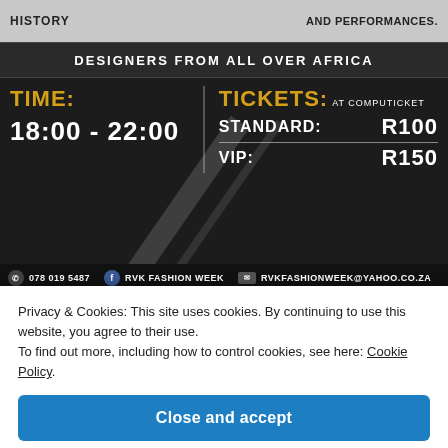HISTORY ... AND PERFORMANCES.
DESIGNERS FROM ALL OVER AFRICA
TIME: 18:00 - 22:00 | TICKETS: AT COMPUTICKET STANDARD: R100 VIP: R150
078 019 5487 | RVK FASHION WEEK | RVKFASHIONWEEK@YAHOO.CO.ZA
[Figure (logo): Sponsor logos: Morning Star Express Hotel, Ditsong, Black Opal, Wine & Vodka, African Fashion Festival]
Privacy & Cookies: This site uses cookies. By continuing to use this website, you agree to their use. To find out more, including how to control cookies, see here: Cookie Policy
Close and accept